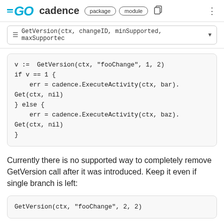GO cadence package module
GetVersion(ctx, changeID, minSupported, maxSupported▼
v :=  GetVersion(ctx, "fooChange", 1, 2)
if v == 1 {
    err = cadence.ExecuteActivity(ctx, bar).Get(ctx, nil)
} else {
    err = cadence.ExecuteActivity(ctx, baz).Get(ctx, nil)
}
Currently there is no supported way to completely remove GetVersion call after it was introduced. Keep it even if single branch is left:
GetVersion(ctx, "fooChange", 2, 2)